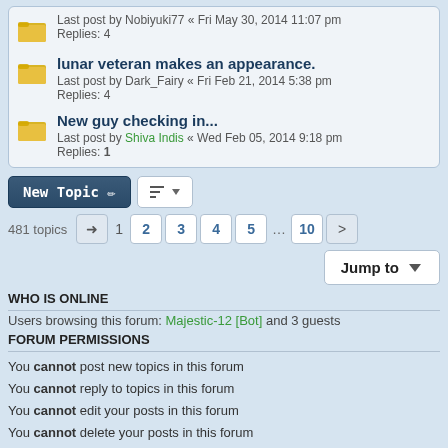Last post by Nobiyuki77 « Fri May 30, 2014 11:07 pm
Replies: 4
lunar veteran makes an appearance.
Last post by Dark_Fairy « Fri Feb 21, 2014 5:38 pm
Replies: 4
New guy checking in...
Last post by Shiva Indis « Wed Feb 05, 2014 9:18 pm
Replies: 1
481 topics  1 2 3 4 5 ... 10 >
Jump to
WHO IS ONLINE
Users browsing this forum: Majestic-12 [Bot] and 3 guests
FORUM PERMISSIONS
You cannot post new topics in this forum
You cannot reply to topics in this forum
You cannot edit your posts in this forum
You cannot delete your posts in this forum
You cannot post attachments in this forum
Board index  All times are UTC